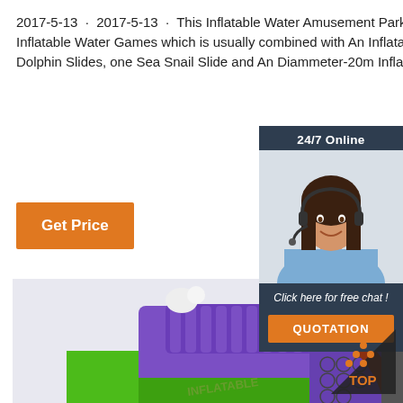2017-5-13 · 2017-5-13 · This Inflatable Water Amusement Park is a new combined Inflatable Water Games which is usually combined with An Inflatable Octopus Slide, 2 Dolphin Slides, one Sea Snail Slide and An Diammeter-20m Inflatable Pool. Warranty
[Figure (other): Orange 'Get Price' button]
[Figure (photo): Customer service representative with headset, 24/7 Online chat widget with QUOTATION button]
[Figure (photo): Inflatable water amusement park structure in purple and green colors]
[Figure (logo): TOP badge with orange dots in triangle shape]